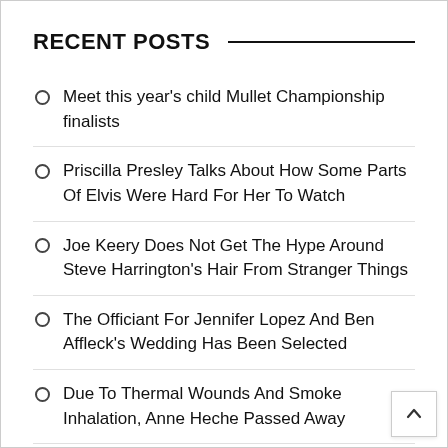RECENT POSTS
Meet this year's child Mullet Championship finalists
Priscilla Presley Talks About How Some Parts Of Elvis Were Hard For Her To Watch
Joe Keery Does Not Get The Hype Around Steve Harrington's Hair From Stranger Things
The Officiant For Jennifer Lopez And Ben Affleck's Wedding Has Been Selected
Due To Thermal Wounds And Smoke Inhalation, Anne Heche Passed Away